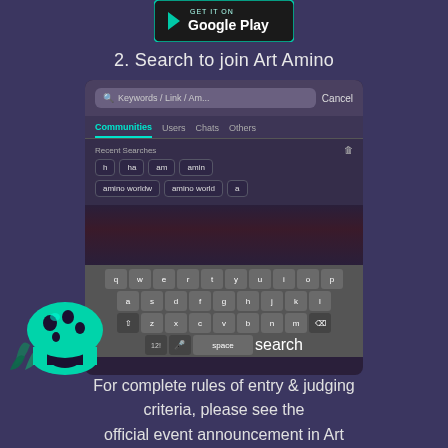[Figure (logo): Google Play Store badge showing 'GET IT ON Google Play']
2. Search to join Art Amino
[Figure (screenshot): Mobile phone screenshot showing a search screen with search bar containing 'Keywords / Link / Am...' placeholder, tabs for Communities, Users, Chats, Others, Recent Searches section with chips: h, ha, am, amin, amino worldw, amino world, a, and an on-screen QWERTY keyboard]
[Figure (illustration): Cyan/teal cartoon mushroom-like creature mascot in the bottom-left corner]
For complete rules of entry & judging criteria, please see the official event announcement in Art